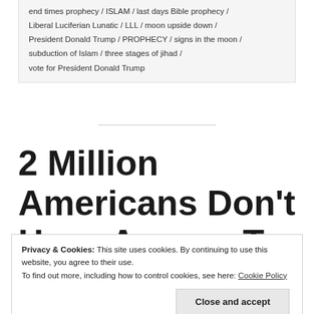end times prophecy / ISLAM / last days Bible prophecy / Liberal Luciferian Lunatic / LLL / moon upside down / President Donald Trump / PROPHECY / signs in the moon / subduction of Islam / three stages of jihad / vote for President Donald Trump
2 Million Americans Don't Have Access To Running
Privacy & Cookies: This site uses cookies. By continuing to use this website, you agree to their use. To find out more, including how to control cookies, see here: Cookie Policy
Close and accept